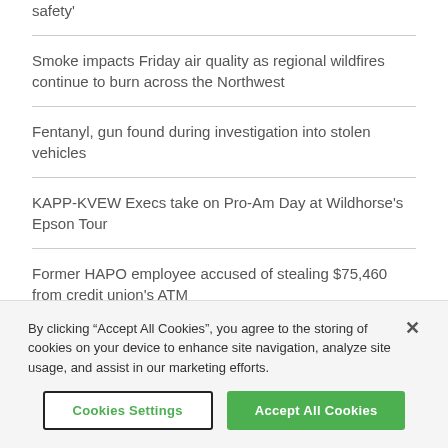safety'
Smoke impacts Friday air quality as regional wildfires continue to burn across the Northwest
Fentanyl, gun found during investigation into stolen vehicles
KAPP-KVEW Execs take on Pro-Am Day at Wildhorse's Epson Tour
Former HAPO employee accused of stealing $75,460 from credit union's ATM
[truncated headline partially visible]
By clicking “Accept All Cookies”, you agree to the storing of cookies on your device to enhance site navigation, analyze site usage, and assist in our marketing efforts.
Cookies Settings | Accept All Cookies